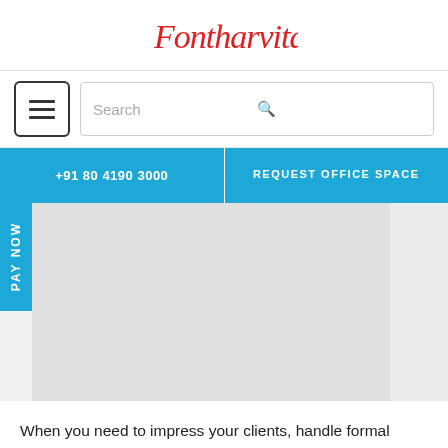[Figure (logo): Fontharvita logo in red italic script font]
[Figure (screenshot): Navigation bar with hamburger menu button and search box]
+91 80 4190 3000
REQUEST OFFICE SPACE
[Figure (photo): Board room / office space image placeholder]
PAY NOW
When you need to impress your clients, handle formal presentations, conduct reviews or host any management meeting – our Board Room is ideal. It's a great space,